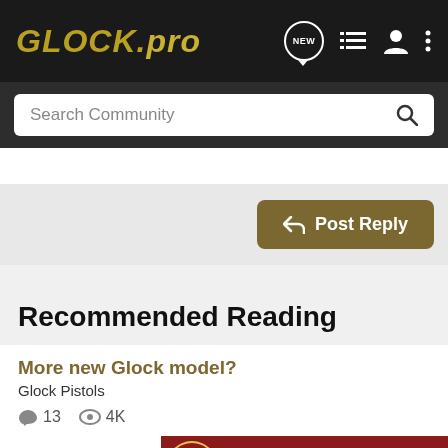GLOCK.pro
Search Community
Post Reply
Recommended Reading
More new Glock model?
Glock Pistols
13 replies  4K views
[Figure (screenshot): Bass Pro Shops Hunting Clearance ad banner with Bargain Cave logo and Shop Now button]